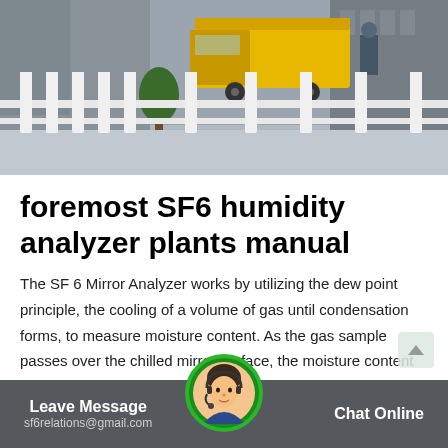[Figure (photo): Industrial facility exterior with yellow truck, white fence with decorative posts, gray buildings, and a tree in background]
foremost SF6 humidity analyzer plants manual
The SF 6 Mirror Analyzer works by utilizing the dew point principle, the cooling of a volume of gas until condensation forms, to measure moisture content. As the gas sample passes over the chilled mirror surface, the moisture content of the gas is determined by comparing the temperature of the mirror to the condensation rate of the gas.
Leave Message  sf6relations@gmail.com    Chat Online